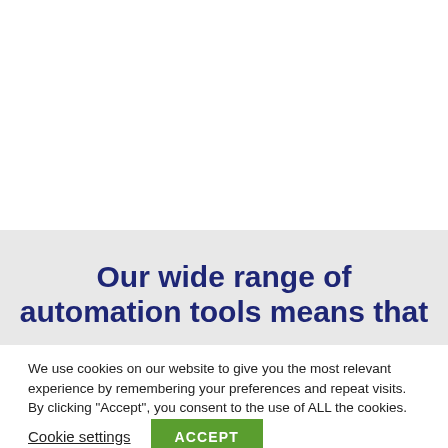Our wide range of automation tools means that
We use cookies on our website to give you the most relevant experience by remembering your preferences and repeat visits. By clicking “Accept”, you consent to the use of ALL the cookies.
Cookie settings
ACCEPT